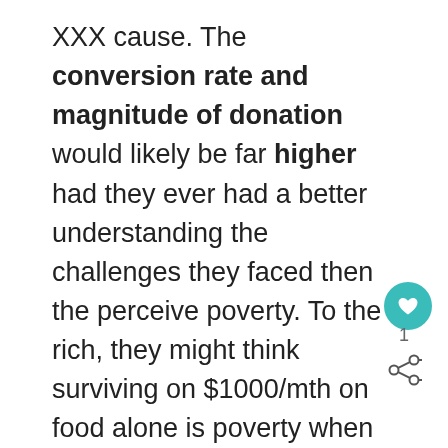XXX cause. The conversion rate and magnitude of donation would likely be far higher had they ever had a better understanding the challenges they faced then the perceive poverty. To the rich, they might think surviving on $1000/mth on food alone is poverty when the actual situation is much worse.
If I am being honest, a course like this will be easier for the well heeled to signed up.
What is the best way for you to empathize with the poor? Live like them, on the same budget for 1 or 2 weeks. You are not